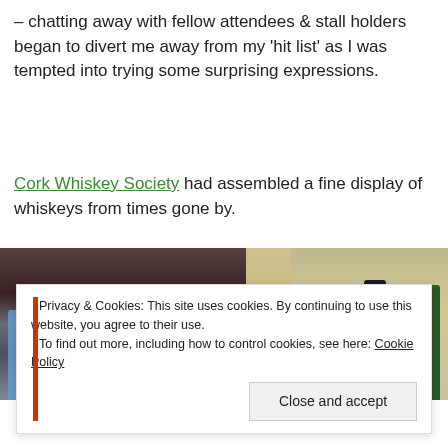– chatting away with fellow attendees & stall holders began to divert me away from my 'hit list' as I was tempted into trying some surprising expressions.
Cork Whiskey Society had assembled a fine display of whiskeys from times gone by.
[Figure (photo): Photo of whiskey bottles on display, showing multiple bottles in blue/teal and green colors against a mixed background, with some bottles visible on the right side.]
Privacy & Cookies: This site uses cookies. By continuing to use this website, you agree to their use.
To find out more, including how to control cookies, see here: Cookie Policy
Close and accept